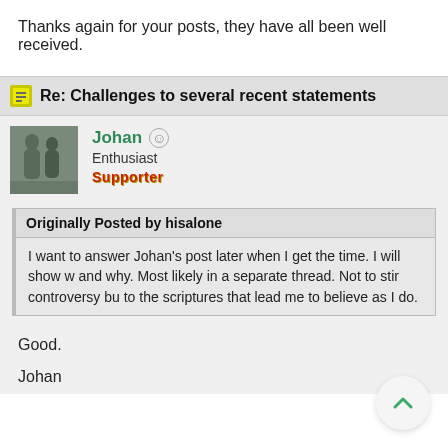Thanks again for your posts, they have all been well received.
Re: Challenges to several recent statements
Johan  Enthusiast  Supporter
Originally Posted by hisalone
I want to answer Johan's post later when I get the time. I will show w... and why. Most likely in a separate thread. Not to stir controversy bu... to the scriptures that lead me to believe as I do.
Good.
Johan